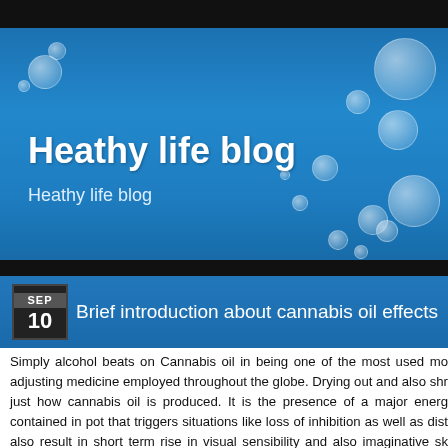[Figure (illustration): Blue gradient banner with floating bubbles serving as blog header background]
Heathy life blog
Heathy life blog
Brief introduction about cannabis oil effects
Simply alcohol beats on Cannabis oil in being one of the most used mo adjusting medicine employed throughout the globe. Drying out and also shr just how cannabis oil is produced. It is the presence of a major energ contained in pot that triggers situations like loss of inhibition as well as dist also result in short term rise in visual sensibility and also imaginative sk accepted as one of much substantial reliance causing compounds its m rejected. Beneath the Controlled Substances Act of 1970, America Federal t to possibly get market, obtain, boost or use cannabis oil in the country. It medicine implying it would possibility of no recovery worth that was appropria